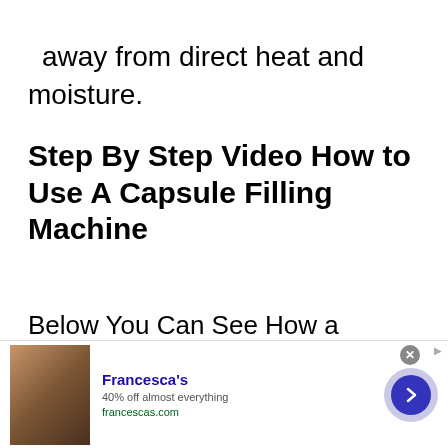and dry airtight container. Keep it away from direct heat and moisture.
Step By Step Video How to Use A Capsule Filling Machine
Below You Can See How a Manual Encapsulation Machine Works.
[Figure (screenshot): Video thumbnail with dark/black background and a circular logo icon visible on the left side]
[Figure (screenshot): Advertisement banner for Francesca's: '40% off almost everything', francescas.com, with a photo of a woman, a close button, and a forward arrow button]